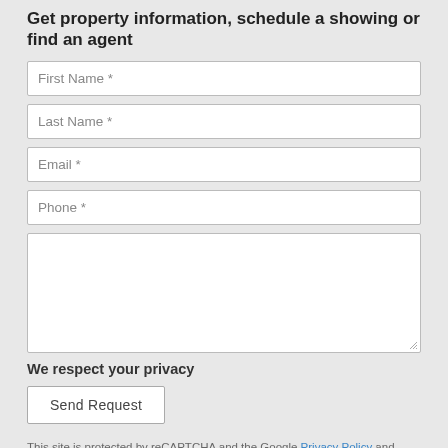Get property information, schedule a showing or find an agent
First Name *
Last Name *
Email *
Phone *
(message textarea)
We respect your privacy
Send Request
This site is protected by reCAPTCHA and the Google Privacy Policy and Terms of Service apply.